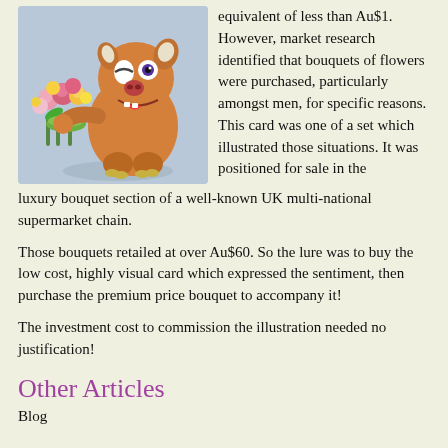[Figure (illustration): Cartoon monster/creature holding a bouquet of colorful flowers, winking, on a light blue background]
equivalent of less than Au$1. However, market research identified that bouquets of flowers were purchased, particularly amongst men, for specific reasons.  This card was one of a set which illustrated those situations. It was positioned for sale in the luxury bouquet section of a well-known UK multi-national supermarket chain.
Those bouquets retailed at over Au$60.  So the lure was to buy the low cost, highly visual card which expressed the sentiment, then purchase the premium price bouquet to accompany it!
The investment cost to commission the illustration needed no justification!
Other Articles
Blog